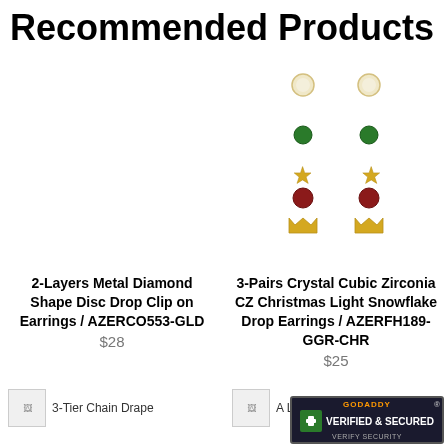Recommended Products
[Figure (photo): Product image area left - 2-Layers Metal Diamond Shape Disc Drop Clip on Earrings (blank/white space in original)]
[Figure (photo): 3-Pairs Crystal Cubic Zirconia CZ Christmas Light Snowflake Drop Earrings displayed showing 3 pairs: pearl studs, green crystal star, red crystal crown, all in gold tone]
2-Layers Metal Diamond Shape Disc Drop Clip on Earrings / AZERCO553-GLD
$28
3-Pairs Crystal Cubic Zirconia CZ Christmas Light Snowflake Drop Earrings / AZERFH189-GGR-CHR
$25
[Figure (photo): Small thumbnail - 3-Tier Chain Drape product]
[Figure (photo): Small thumbnail - A La Mode... Cotton product]
[Figure (logo): GoDaddy Verified & Secured badge]